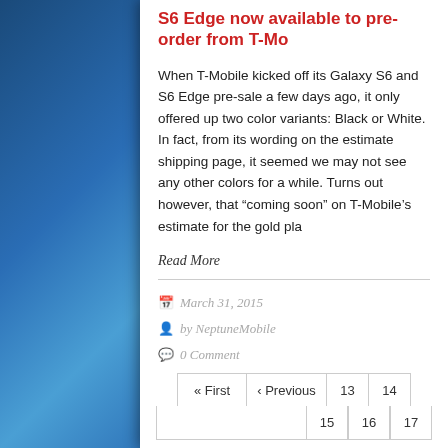S6 Edge now available to pre-order from T-Mo
When T-Mobile kicked off its Galaxy S6 and S6 Edge pre-sale a few days ago, it only offered up two color variants: Black or White. In fact, from its wording on the estimate shipping page, it seemed we may not see any other colors for a while. Turns out however, that “coming soon” on T-Mobile’s estimate for the gold pla
Read More
March 31, 2015
by NeptuneMobile
0 Comment
| « First | ‹ Previous | 13 | 14 |
|  |  | 15 | 16 | 17 |